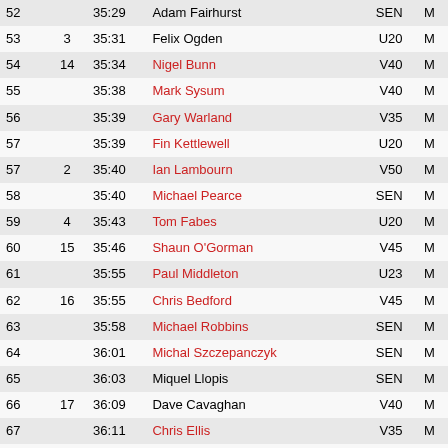| Pos | Cat Pos | Time | Name | Age Cat | Sex |
| --- | --- | --- | --- | --- | --- |
| 52 |  | 35:29 | Adam Fairhurst | SEN | M |
| 53 | 3 | 35:31 | Felix Ogden | U20 | M |
| 54 | 14 | 35:34 | Nigel Bunn | V40 | M |
| 55 |  | 35:38 | Mark Sysum | V40 | M |
| 56 |  | 35:39 | Gary Warland | V35 | M |
| 57 |  | 35:39 | Fin Kettlewell | U20 | M |
| 57 | 2 | 35:40 | Ian Lambourn | V50 | M |
| 58 |  | 35:40 | Michael Pearce | SEN | M |
| 59 | 4 | 35:43 | Tom Fabes | U20 | M |
| 60 | 15 | 35:46 | Shaun O'Gorman | V45 | M |
| 61 |  | 35:55 | Paul Middleton | U23 | M |
| 62 | 16 | 35:55 | Chris Bedford | V45 | M |
| 63 |  | 35:58 | Michael Robbins | SEN | M |
| 64 |  | 36:01 | Michal Szczepanczyk | SEN | M |
| 65 |  | 36:03 | Miquel Llopis | SEN | M |
| 66 | 17 | 36:09 | Dave Cavaghan | V40 | M |
| 67 |  | 36:11 | Chris Ellis | V35 | M |
| 68 |  | 36:12 | Dave Ferrier | V35 | M |
| 69 |  | 36:14 | Stephen Elsmere | SEN | M |
| 70 | 18 | 36:17 | Benedict Pollard | V40 | M |
| 71 | 19 | 36:19 | Ian Hunter | V40 | M |
| 72 |  | 36:20 | Martin Walker | V35 | M |